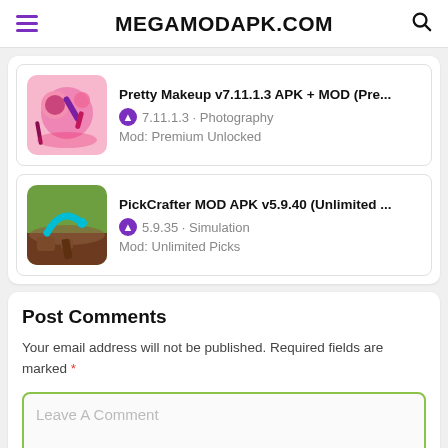MEGAMODAPK.COM
Pretty Makeup v7.11.1.3 APK + MOD (Pre...
7.11.1.3 · Photography
Mod: Premium Unlocked
PickCrafter MOD APK v5.9.40 (Unlimited ...
5.9.35 · Simulation
Mod: Unlimited Picks
Post Comments
Your email address will not be published. Required fields are marked *
Leave A Comment